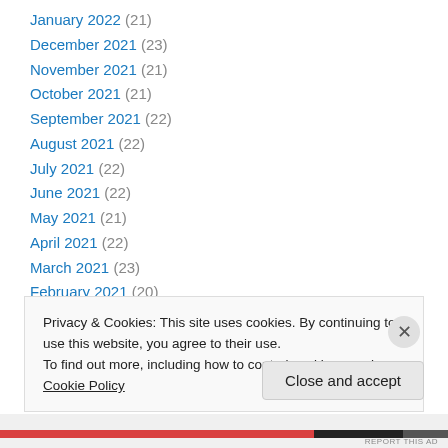January 2022 (21)
December 2021 (23)
November 2021 (21)
October 2021 (21)
September 2021 (22)
August 2021 (22)
July 2021 (22)
June 2021 (22)
May 2021 (21)
April 2021 (22)
March 2021 (23)
February 2021 (20)
January 2021 (21)
Privacy & Cookies: This site uses cookies. By continuing to use this website, you agree to their use. To find out more, including how to control cookies, see here: Cookie Policy
Close and accept